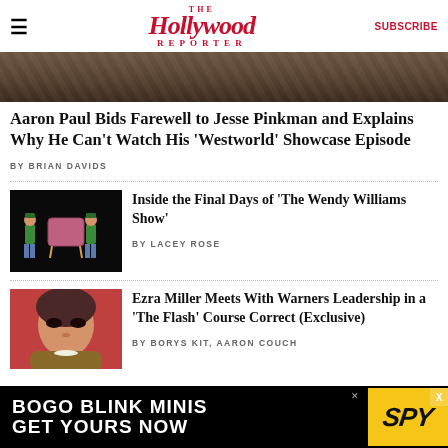The Hollywood Reporter | SUBSCRIBE
[Figure (photo): Hero image strip — dark background scene, partially visible]
Aaron Paul Bids Farewell to Jesse Pinkman and Explains Why He Can’t Watch His ‘Westworld’ Showcase Episode
BY BRIAN DAVIDS
[Figure (photo): Two men in green shirts carrying a large pink tufted chair against a black background — promotional image for The Wendy Williams Show]
Inside the Final Days of ‘The Wendy Williams Show’
BY LACEY ROSE
[Figure (photo): Portrait of Ezra Miller with dark hair and dramatic eye makeup, wearing fur, against a red background]
Ezra Miller Meets With Warners Leadership in a ‘The Flash’ Course Correct (Exclusive)
BY BORYS KIT, AARON COUCH
[Figure (advertisement): BOGO BLINK MINIS GET YOURS NOW — SPY advertisement banner, black background with yellow SPY logo]